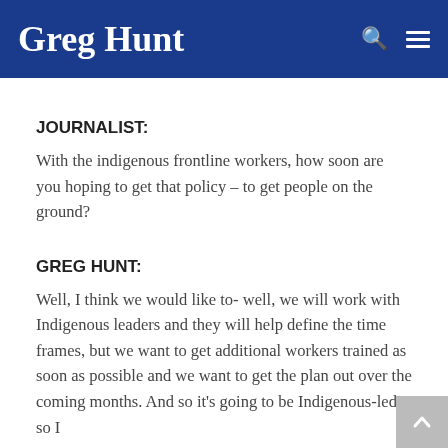Greg Hunt
JOURNALIST:
With the indigenous frontline workers, how soon are you hoping to get that policy – to get people on the ground?
GREG HUNT:
Well, I think we would like to- well, we will work with Indigenous leaders and they will help define the time frames, but we want to get additional workers trained as soon as possible and we want to get the plan out over the coming months. And so it's going to be Indigenous-led, so I